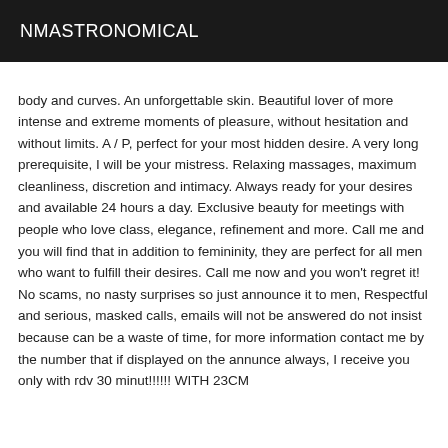NMASTRONOMICAL
body and curves. An unforgettable skin. Beautiful lover of more intense and extreme moments of pleasure, without hesitation and without limits. A / P, perfect for your most hidden desire. A very long prerequisite, I will be your mistress. Relaxing massages, maximum cleanliness, discretion and intimacy. Always ready for your desires and available 24 hours a day. Exclusive beauty for meetings with people who love class, elegance, refinement and more. Call me and you will find that in addition to femininity, they are perfect for all men who want to fulfill their desires. Call me now and you won't regret it! No scams, no nasty surprises so just announce it to men, Respectful and serious, masked calls, emails will not be answered do not insist because can be a waste of time, for more information contact me by the number that if displayed on the annunce always, I receive you only with rdv 30 minut!!!!!! WITH 23CM